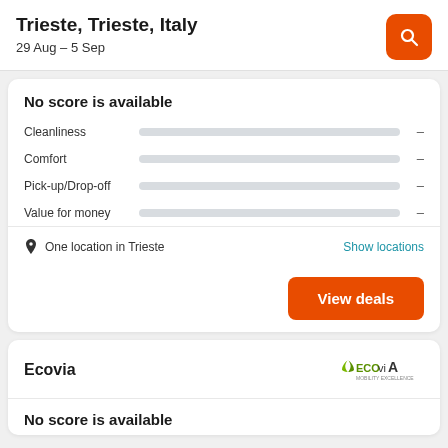Trieste, Trieste, Italy
29 Aug – 5 Sep
No score is available
Cleanliness –
Comfort –
Pick-up/Drop-off –
Value for money –
One location in Trieste
Show locations
View deals
Ecovia
No score is available